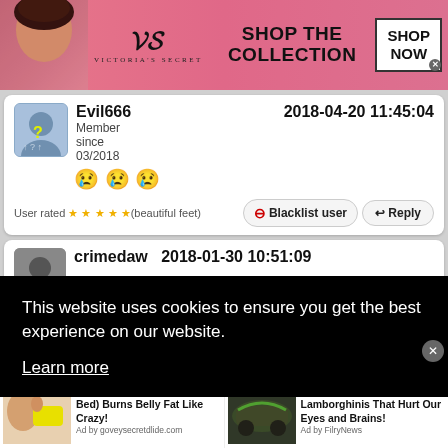[Figure (screenshot): Victoria's Secret advertisement banner with model, VS logo, 'SHOP THE COLLECTION' text and 'SHOP NOW' button]
Evil666
Member since 03/2018
2018-04-20 11:45:04
😢😢😢
User rated ★★★★★ (beautiful feet)
⊖ Blacklist user   ↩ Reply
crimedaw   2018-01-30 10:51:09
This website uses cookies to ensure you get the best experience on our website.
Learn more
[Figure (screenshot): Bottom advertisement strip: 'One Cup of This (Before Bed) Burns Belly Fat Like Crazy!' ad and '20 Cringeworthy Lamborghinis That Hurt Our Eyes and Brains!' ad]